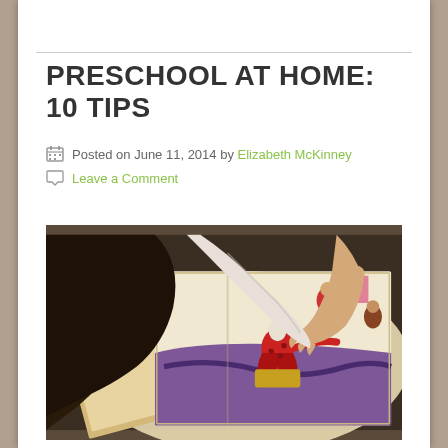PRESCHOOL AT HOME: 10 TIPS
Posted on June 11, 2014 by Elizabeth McKinney
Leave a Comment
[Figure (photo): A young child pointing at an illustrated storybook page showing a colorful scene with a jester/wizard character in red robes, with other illustrated characters around, viewed from above and behind the child]